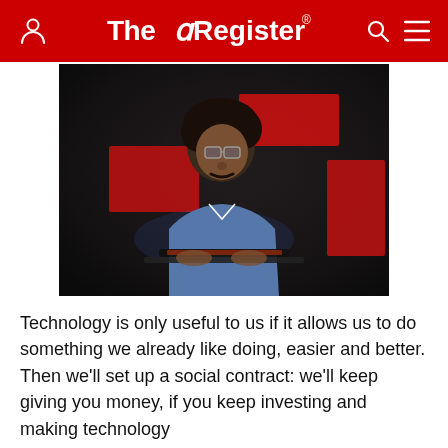The Register
[Figure (photo): Man with curly hair and glasses looking at a laptop screen in a dark room with red rectangular lights in the background]
Technology is only useful to us if it allows us to do something we already like doing, easier and better. Then we'll set up a social contract: we'll keep giving you money, if you keep investing and making technology